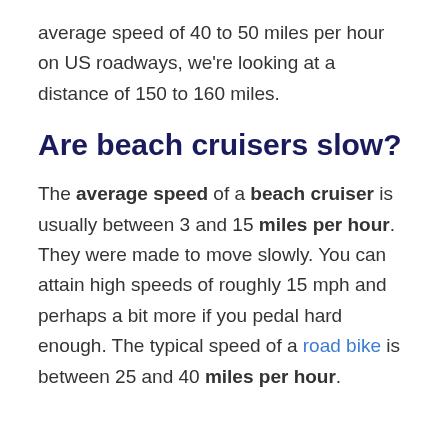average speed of 40 to 50 miles per hour on US roadways, we're looking at a distance of 150 to 160 miles.
Are beach cruisers slow?
The average speed of a beach cruiser is usually between 3 and 15 miles per hour. They were made to move slowly. You can attain high speeds of roughly 15 mph and perhaps a bit more if you pedal hard enough. The typical speed of a road bike is between 25 and 40 miles per hour.